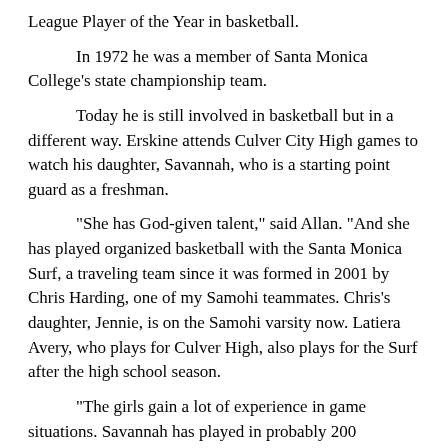League Player of the Year in basketball.
In 1972 he was a member of Santa Monica College's state championship team.
Today he is still involved in basketball but in a different way. Erskine attends Culver City High games to watch his daughter, Savannah, who is a starting point guard as a freshman.
“She has God-given talent,” said Allan. “And she has played organized basketball with the Santa Monica Surf, a traveling team since it was formed in 2001 by Chris Harding, one of my Samohi teammates. Chris’s daughter, Jennie, is on the Samohi varsity now. Latiera Avery, who plays for Culver High, also plays for the Surf after the high school season.
“The girls gain a lot of experience in game situations. Savannah has played in probably 200 organized games.”